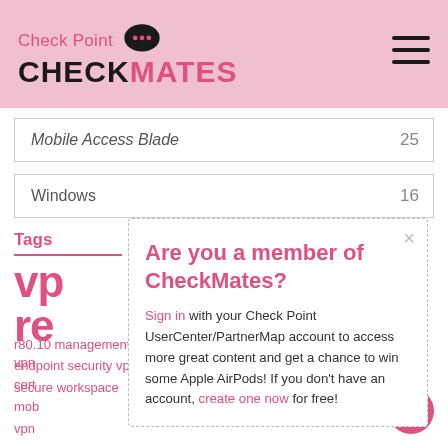Check Point CHECKMATES
Mobile Access Blade  25
Windows  16
Tags
vpn re vpn cert mob vpn
r80.10 management   zfa   authentication   endpoint security vpn   java   r77.30 gateway   remote   secure workspace
Are you a member of CheckMates?

Sign in with your Check Point UserCenter/PartnerMap account to access more great content and get a chance to win some Apple AirPods! If you don't have an account, create one now for free!